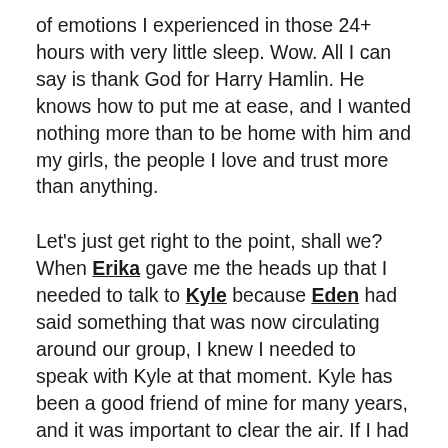of emotions I experienced in those 24+ hours with very little sleep. Wow. All I can say is thank God for Harry Hamlin. He knows how to put me at ease, and I wanted nothing more than to be home with him and my girls, the people I love and trust more than anything.
Let's just get right to the point, shall we? When Erika gave me the heads up that I needed to talk to Kyle because Eden had said something that was now circulating around our group, I knew I needed to speak with Kyle at that moment. Kyle has been a good friend of mine for many years, and it was important to clear the air. If I had something to hide, I wouldn't have been the one to initiate the conversation. I'm grateful to Erika